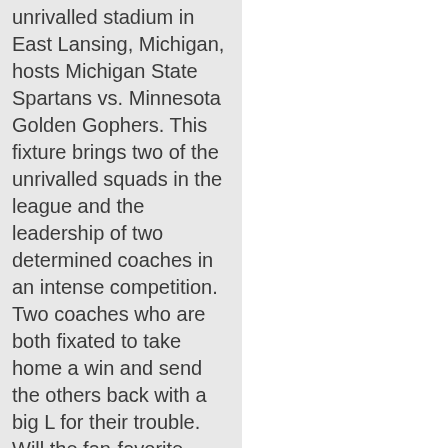unrivalled stadium in East Lansing, Michigan, hosts Michigan State Spartans vs. Minnesota Golden Gophers. This fixture brings two of the unrivalled squads in the league and the leadership of two determined coaches in an intense competition. Two coaches who are both fixated to take home a win and send the others back with a big L for their trouble. Will the fan-favorite home team deliver? Or can the visiting team rise up